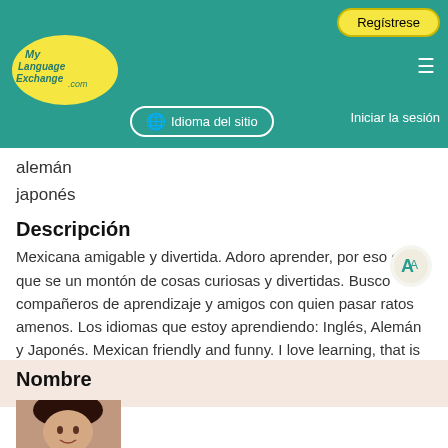[Figure (logo): MyLanguageExchange.com logo - yellow ellipse with teal text]
Regístrese
Idioma del sitio
Iniciar la sesión
alemán
japonés
Descripción
Mexicana amigable y divertida. Adoro aprender, por eso es que se un montón de cosas curiosas y divertidas. Busco compañeros de aprendizaje y amigos con quien pasar ratos amenos. Los idiomas que estoy aprendiendo: Inglés, Alemán y Japonés. Mexican friendly and funny. I love learning, that is why i know a lot of curious things. I am looking for partners and friends to spend good times. My languag... See more
Nombre
[Figure (photo): Profile photo of a woman with dark hair]